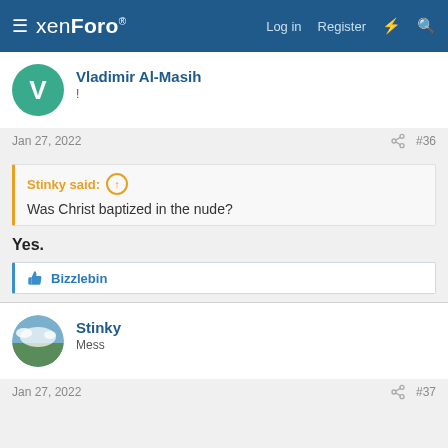XenForo | Log in | Register
Vladimir Al-Masih
!
Jan 27, 2022 #36
Stinky said: ↑
Was Christ baptized in the nude?
Yes.
👍 Bizzlebin
Stinky
Mess
Jan 27, 2022 #37